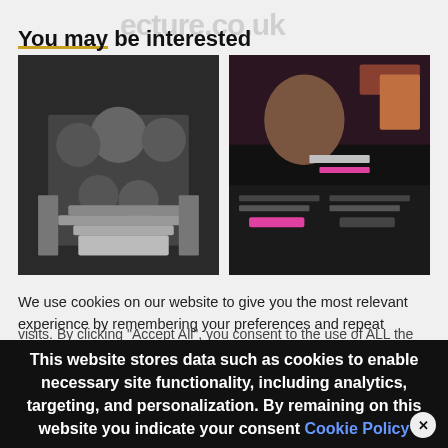You may be interested
[Figure (photo): Black and white photo of a group of people posing on geometric stairs]
[Figure (screenshot): Screenshot of a dark-themed website with a woman in the foreground]
We use cookies on our website to give you the most relevant experience by remembering your preferences and repeat visits. By clicking "Accept All", you consent to the use of ALL the cookies. However, you may visit "Cookie Settings" to provide a controlled consent.
This website stores data such as cookies to enable necessary site functionality, including analytics, targeting, and personalization. By remaining on this website you indicate your consent Cookie Policy